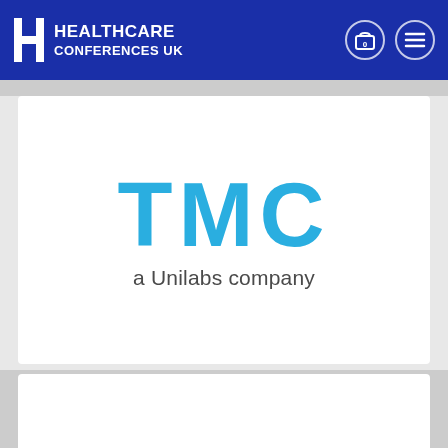HEALTHCARE CONFERENCES UK
[Figure (logo): TMC a Unilabs company logo — large bold blue letters TMC with subtitle 'a Unilabs company' in dark gray]